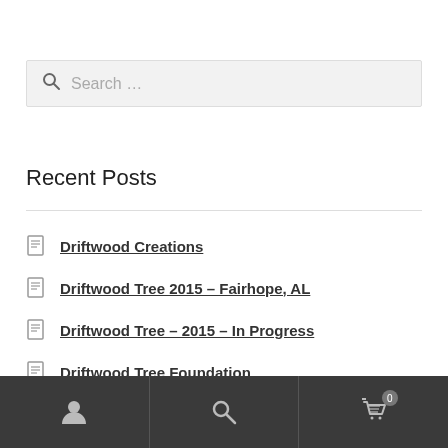Search …
Recent Posts
Driftwood Creations
Driftwood Tree 2015 – Fairhope, AL
Driftwood Tree – 2015 – In Progress
Driftwood Tree Foundation